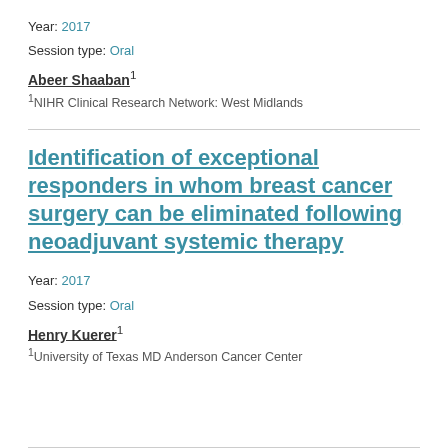Year: 2017
Session type: Oral
Abeer Shaaban¹
¹NIHR Clinical Research Network: West Midlands
Identification of exceptional responders in whom breast cancer surgery can be eliminated following neoadjuvant systemic therapy
Year: 2017
Session type: Oral
Henry Kuerer¹
¹University of Texas MD Anderson Cancer Center